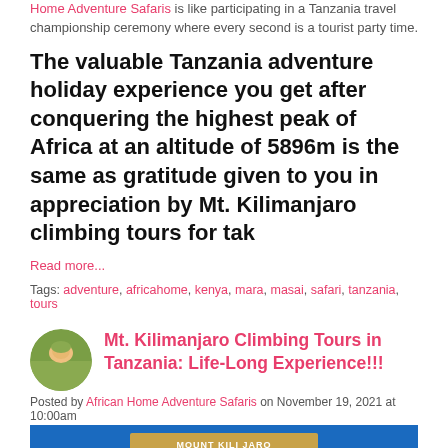Home Adventure Safaris is like participating in a Tanzania travel championship ceremony where every second is a tourist party time.
The valuable Tanzania adventure holiday experience you get after conquering the highest peak of Africa at an altitude of 5896m is the same as gratitude given to you in appreciation by Mt. Kilimanjaro climbing tours for tak
Read more...
Tags: adventure, africahome, kenya, mara, masai, safari, tanzania, tours
Mt. Kilimanjaro Climbing Tours in Tanzania: Life-Long Experience!!!
Posted by African Home Adventure Safaris on November 19, 2021 at 10:00am
[Figure (photo): Two people standing in front of a Mount Kilimanjaro summit sign against a blue sky background. One person is dressed warmly, the other has arms raised in celebration.]